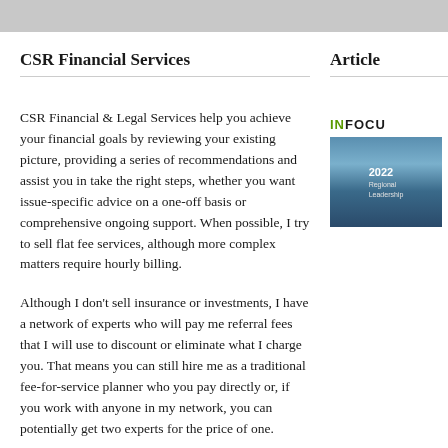CSR Financial Services
CSR Financial & Legal Services help you achieve your financial goals by reviewing your existing picture, providing a series of recommendations and assist you in take the right steps, whether you want issue-specific advice on a one-off basis or comprehensive ongoing support. When possible, I try to sell flat fee services, although more complex matters require hourly billing.
Although I don't sell insurance or investments, I have a network of experts who will pay me referral fees that I will use to discount or eliminate what I charge you. That means you can still hire me as a traditional fee-for-service planner who you pay directly or, if you work with anyone in my network, you can potentially get two experts for the price of one.
Read more about my services.
Articles
[Figure (photo): Book cover for IN FOCUS publication about regional leadership, showing a lake and mountain landscape scene]